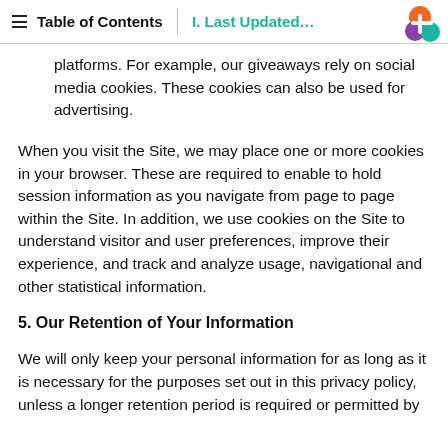Table of Contents | I. Last Updated...
platforms. For example, our giveaways rely on social media cookies. These cookies can also be used for advertising.
When you visit the Site, we may place one or more cookies in your browser. These are required to enable to hold session information as you navigate from page to page within the Site. In addition, we use cookies on the Site to understand visitor and user preferences, improve their experience, and track and analyze usage, navigational and other statistical information.
5. Our Retention of Your Information
We will only keep your personal information for as long as it is necessary for the purposes set out in this privacy policy, unless a longer retention period is required or permitted by